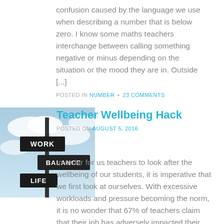confusion caused by the language we use when describing a number that is below zero. I know some maths teachers interchange between calling something negative or minus depending on the situation or the mood they are in. Outside [...]
POSTED IN NUMBER • 23 COMMENTS
Teacher Wellbeing Hack
POSTED ON AUGUST 5, 2016
[Figure (photo): A signpost with three signs reading WORK, BALANCE, and LIFE against a cloudy blue sky background.]
In order for us teachers to look after the wellbeing of our students, it is imperative that we first look at ourselves. With excessive workloads and pressure becoming the norm, it is no wonder that 67% of teachers claim that their job has adversely impacted their mental or physical health. The summer holidays is